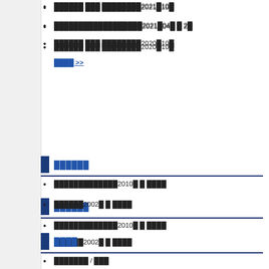██████ ███ ████████2021█10█
██████████████████2021█04█ █ 2█
██████ ███ ████████2020█10█
████ >>
██████
█████████████2010█ █ ████
██████2002█ █ ████
████
███████ / ███
████